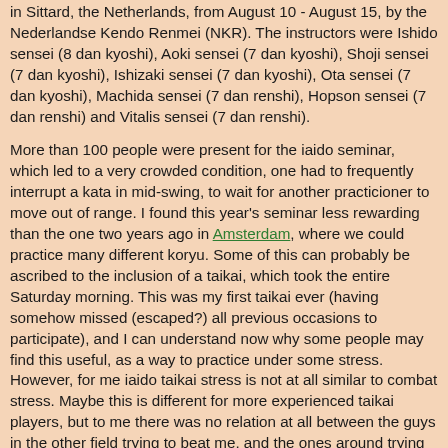in Sittard, the Netherlands, from August 10 - August 15, by the Nederlandse Kendo Renmei (NKR). The instructors were Ishido sensei (8 dan kyoshi), Aoki sensei (7 dan kyoshi), Shoji sensei (7 dan kyoshi), Ishizaki sensei (7 dan kyoshi), Ota sensei (7 dan kyoshi), Machida sensei (7 dan renshi), Hopson sensei (7 dan renshi) and Vitalis sensei (7 dan renshi).
More than 100 people were present for the iaido seminar, which led to a very crowded condition, one had to frequently interrupt a kata in mid-swing, to wait for another practicioner to move out of range. I found this year's seminar less rewarding than the one two years ago in Amsterdam, where we could practice many different koryu. Some of this can probably be ascribed to the inclusion of a taikai, which took the entire Saturday morning. This was my first taikai ever (having somehow missed (escaped?) all previous occasions to participate), and I can understand now why some people may find this useful, as a way to practice under some stress. However, for me iaido taikai stress is not at all similar to combat stress. Maybe this is different for more experienced taikai players, but to me there was no relation at all between the guys in the other field trying to beat me, and the ones around trying to kill me. Anyway